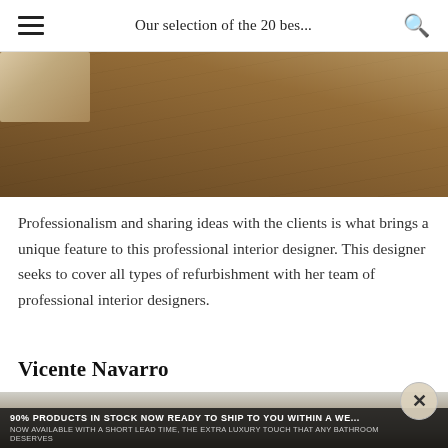Our selection of the 20 bes...
[Figure (photo): Close-up photo of a dark wooden bathroom shelf or bench surface with white folded towels on the left side. Warm brown wood grain texture is visible.]
Professionalism and sharing ideas with the clients is what brings a unique feature to this professional interior designer. This designer seeks to cover all types of refurbishment with her team of professional interior designers.
Vicente Navarro
[Figure (photo): Partial view of a modern interior/bathroom space, partially obscured by a banner overlay at the bottom.]
90% PRODUCTS IN STOCK NOW READY TO SHIP TO YOU WITHIN A WE... NOW AVAILABLE WITH A SHORT LEAD TIME, THE EXTRA LUXURY TOUCH THAT ANY BATHROOM DESERVES